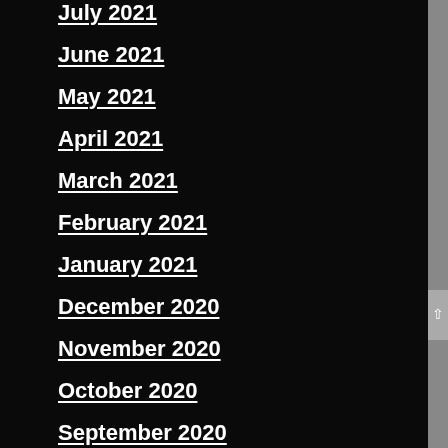July 2021
June 2021
May 2021
April 2021
March 2021
February 2021
January 2021
December 2020
November 2020
October 2020
September 2020
August 2020
July 2020
Categories